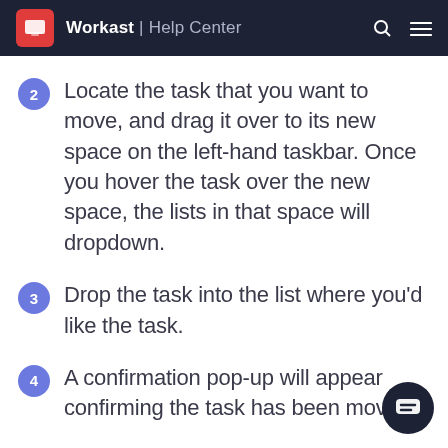Workast | Help Center
Locate the task that you want to move, and drag it over to its new space on the left-hand taskbar. Once you hover the task over the new space, the lists in that space will dropdown.
Drop the task into the list where you'd like the task.
A confirmation pop-up will appear confirming the task has been move